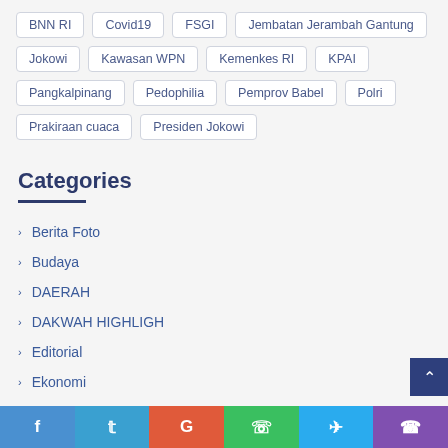BNN RI
Covid19
FSGI
Jembatan Jerambah Gantung
Jokowi
Kawasan WPN
Kemenkes RI
KPAI
Pangkalpinang
Pedophilia
Pemprov Babel
Polri
Prakiraan cuaca
Presiden Jokowi
Categories
Berita Foto
Budaya
DAERAH
DAKWAH HIGHLIGH
Editorial
Ekonomi